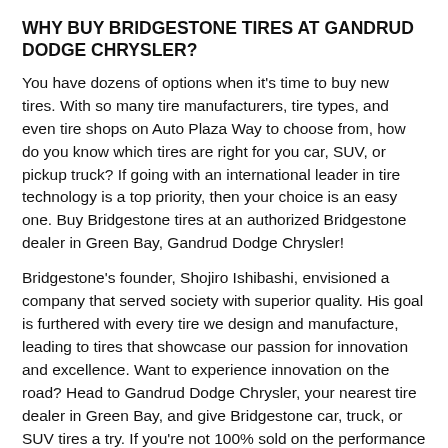WHY BUY BRIDGESTONE TIRES AT GANDRUD DODGE CHRYSLER?
You have dozens of options when it's time to buy new tires. With so many tire manufacturers, tire types, and even tire shops on Auto Plaza Way to choose from, how do you know which tires are right for you car, SUV, or pickup truck? If going with an international leader in tire technology is a top priority, then your choice is an easy one. Buy Bridgestone tires at an authorized Bridgestone dealer in Green Bay, Gandrud Dodge Chrysler!
Bridgestone's founder, Shojiro Ishibashi, envisioned a company that served society with superior quality. His goal is furthered with every tire we design and manufacture, leading to tires that showcase our passion for innovation and excellence. Want to experience innovation on the road? Head to Gandrud Dodge Chrysler, your nearest tire dealer in Green Bay, and give Bridgestone car, truck, or SUV tires a try. If you're not 100% sold on the performance of your eligible Bridgestone tires, we'll let you take...